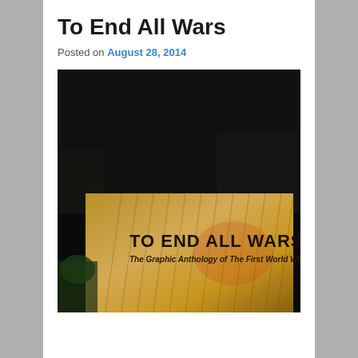To End All Wars
Posted on August 28, 2014
[Figure (photo): Photograph of the book 'To End All Wars: The Graphic Anthology of The First World War' against a dark background. The book cover shows a khaki/golden-brown textured design with diagonal rain-like streaks, featuring the bold black title text 'TO END ALL WARS' and subtitle 'The Graphic Anthology of The First World War'.]